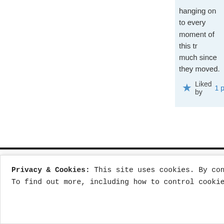hanging on to every moment of this tr… much since they moved. I am getting m…
Liked by 1 person
Blogs I Follow
Gods Glory
Matt's Garden Struggles
David Carroll – Visual Artist
Peace in the Home
From the Inside Out
WTF? (Where's the faith?)
Pilgrim's Progress Revisited –
Follow Blog via Email
Enter your email address to follow this blog and receive notifications of new posts by email.
Privacy & Cookies: This site uses cookies. By continuing to use this website, you agree to their use. To find out more, including how to control cookies, see here: Cookie Policy
Close and accept